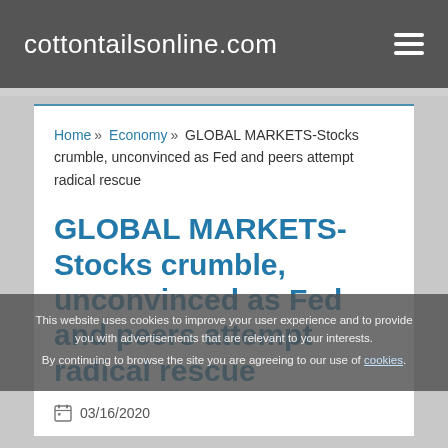cottontailsonline.com
Home » Economy » GLOBAL MARKETS-Stocks crumble, unconvinced as Fed and peers attempt radical rescue
GLOBAL MARKETS-Stocks crumble, unconvinced as Fed and peers attempt radical rescue
03/16/2020
This website uses cookies to improve your user experience and to provide you with advertisements that are relevant to your interests. By continuing to browse the site you are agreeing to our use of cookies.